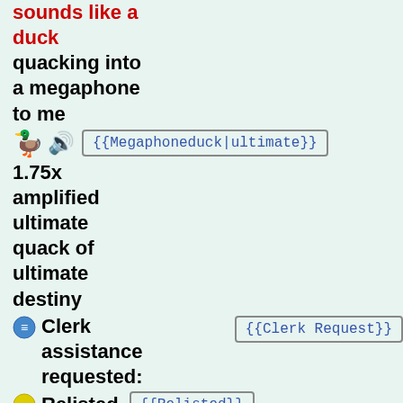sounds like a duck quacking into a megaphone to me
🦆 🔊 {{Megaphoneduck|ultimate}}
1.75x amplified ultimate quack of ultimate destiny
🔵 Clerk assistance requested: {{Clerk Request}}
🟡 Relisted {{Relisted}}
🔘 No {{Nosleepers}}